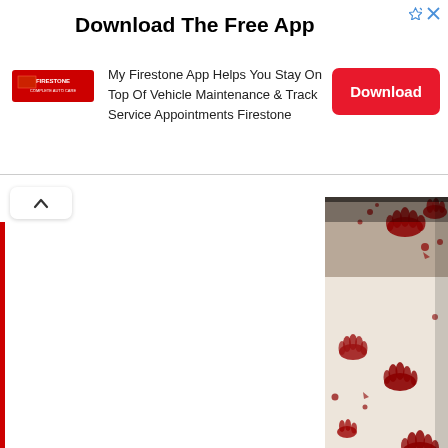[Figure (screenshot): Advertisement banner for Firestone app. Shows Firestone logo on left, headline 'Download The Free App', body text 'My Firestone App Helps You Stay On Top Of Vehicle Maintenance & Track Service Appointments Firestone', and a red 'Download' button on the right.]
[Figure (photo): A white tablecloth or sheet covered with red bloody handprints and splatter marks, draped over a surface.]
[Figure (photo): A room scene with an orange/brown wall, a gold-framed mirror, a small console table with decorative items, and a dark candle in the foreground.]